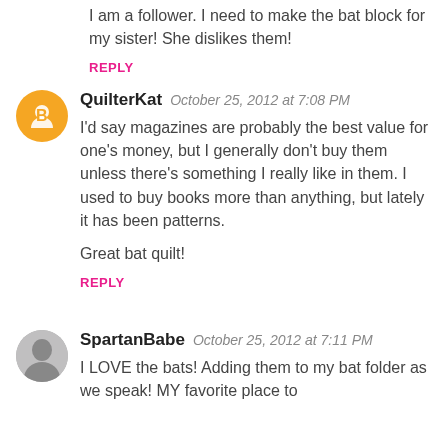I am a follower. I need to make the bat block for my sister! She dislikes them!
REPLY
QuilterKat  October 25, 2012 at 7:08 PM
I'd say magazines are probably the best value for one's money, but I generally don't buy them unless there's something I really like in them. I used to buy books more than anything, but lately it has been patterns.
Great bat quilt!
REPLY
SpartanBabe  October 25, 2012 at 7:11 PM
I LOVE the bats! Adding them to my bat folder as we speak! MY favorite place to